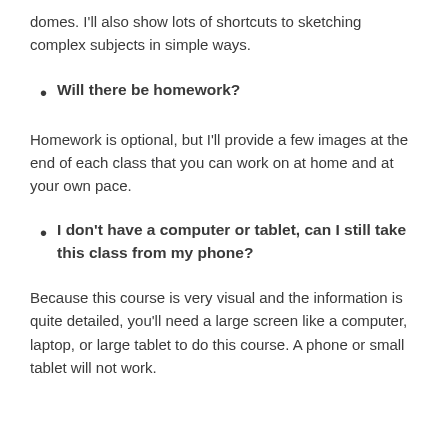domes. I'll also show lots of shortcuts to sketching complex subjects in simple ways.
Will there be homework?
Homework is optional, but I'll provide a few images at the end of each class that you can work on at home and at your own pace.
I don't have a computer or tablet, can I still take this class from my phone?
Because this course is very visual and the information is quite detailed, you'll need a large screen like a computer, laptop, or large tablet to do this course. A phone or small tablet will not work.